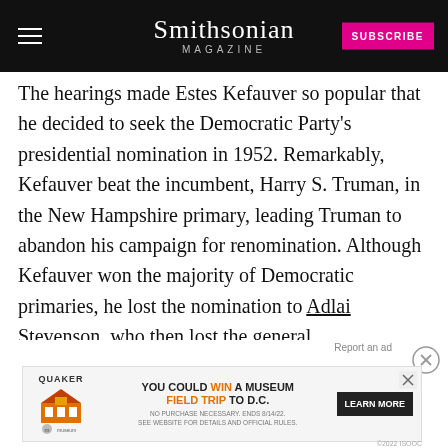Smithsonian Magazine
The hearings made Estes Kefauver so popular that he decided to seek the Democratic Party's presidential nomination in 1952. Remarkably, Kefauver beat the incumbent, Harry S. Truman, in the New Hampshire primary, leading Truman to abandon his campaign for renomination. Although Kefauver won the majority of Democratic primaries, he lost the nomination to Adlai Stevenson, who then lost the general election to General Dwight D. Eisenhower. And even presidential candidate in the Democrats losing